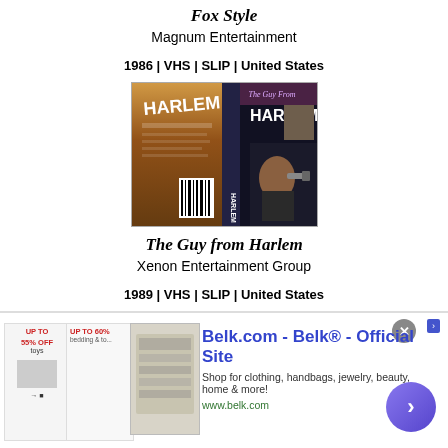Fox Style
Magnum Entertainment
1986 | VHS | SLIP | United States
[Figure (photo): VHS tape cover for 'The Guy from Harlem' — showing front and back of VHS slip case with 'HARLEM' text prominently displayed]
The Guy from Harlem
Xenon Entertainment Group
1989 | VHS | SLIP | United States
[Figure (photo): Partial view of VHS cover for 'Honky' showing title text and images]
[Figure (screenshot): Advertisement overlay: infolinks banner with Belk.com ad — 'Belk® - Official Site', 'Shop for clothing, handbags, jewelry, beauty, home & more!', 'www.belk.com']